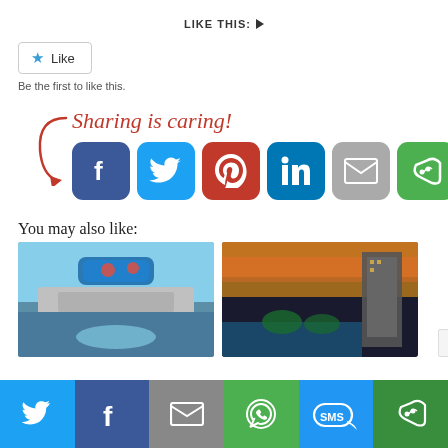LIKE THIS: ▶
[Figure (screenshot): Like button with star icon and 'Like' label, with text 'Be the first to like this.' below]
[Figure (infographic): Sharing icons row: Facebook, Twitter, Pinterest, LinkedIn, Email, More with 'Sharing is caring!' heading and curved arrow]
You may also like:
[Figure (photo): Cruise ship deck with zipline riders overhead, ocean in background]
[Figure (photo): Sunset view over hotel pool and waterfront with tall building]
[Figure (screenshot): Bottom sharing bar: Twitter, Facebook, Email, WhatsApp, SMS, More (green)]